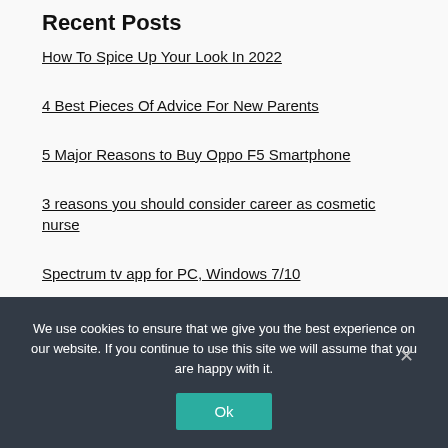Recent Posts
How To Spice Up Your Look In 2022
4 Best Pieces Of Advice For New Parents
5 Major Reasons to Buy Oppo F5 Smartphone
3 reasons you should consider career as cosmetic nurse
Spectrum tv app for PC, Windows 7/10
We use cookies to ensure that we give you the best experience on our website. If you continue to use this site we will assume that you are happy with it.